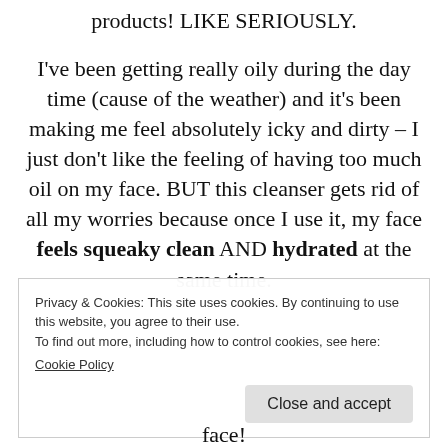products! LIKE SERIOUSLY.
I’ve been getting really oily during the day time (cause of the weather) and it’s been making me feel absolutely icky and dirty – I just don’t like the feeling of having too much oil on my face. BUT this cleanser gets rid of all my worries because once I use it, my face feels squeaky clean AND hydrated at the same time.
Privacy & Cookies: This site uses cookies. By continuing to use this website, you agree to their use.
To find out more, including how to control cookies, see here:
Cookie Policy
face!